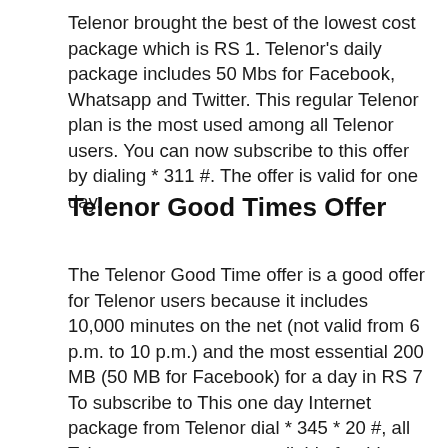Telenor brought the best of the lowest cost package which is RS 1. Telenor's daily package includes 50 Mbs for Facebook, Whatsapp and Twitter. This regular Telenor plan is the most used among all Telenor users. You can now subscribe to this offer by dialing * 311 #. The offer is valid for one day.
Telenor Good Times Offer
The Telenor Good Time offer is a good offer for Telenor users because it includes 10,000 minutes on the net (not valid from 6 p.m. to 10 p.m.) and the most essential 200 MB (50 MB for Facebook) for a day in RS 7 To subscribe to This one day Internet package from Telenor dial * 345 * 20 #, all Telenor customers are available for this package and